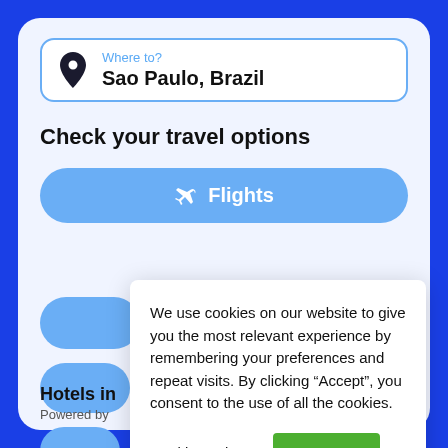Where to?
Sao Paulo, Brazil
Check your travel options
✈ Flights
Hotels in
Powered by
[Figure (screenshot): Cookie consent modal overlay with text: We use cookies on our website to give you the most relevant experience by remembering your preferences and repeat visits. By clicking "Accept", you consent to the use of all the cookies. With Cookie settings and ACCEPT buttons.]
We use cookies on our website to give you the most relevant experience by remembering your preferences and repeat visits. By clicking “Accept”, you consent to the use of all the cookies.
Cookie settings
ACCEPT